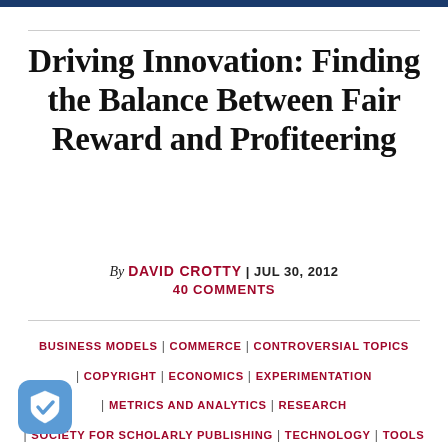Driving Innovation: Finding the Balance Between Fair Reward and Profiteering
By DAVID CROTTY | JUL 30, 2012
40 COMMENTS
BUSINESS MODELS | COMMERCE | CONTROVERSIAL TOPICS | COPYRIGHT | ECONOMICS | EXPERIMENTATION | METRICS AND ANALYTICS | RESEARCH | SOCIETY FOR SCHOLARLY PUBLISHING | TECHNOLOGY | TOOLS | WORLD OF TOMORROW